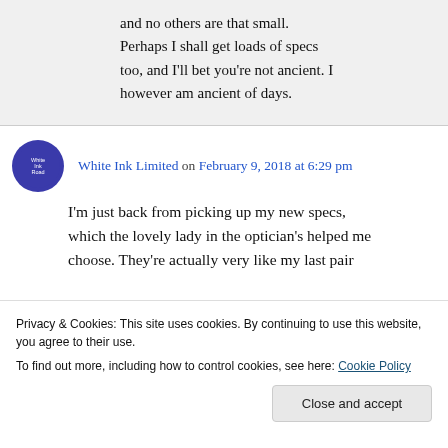and no others are that small. Perhaps I shall get loads of specs too, and I'll bet you're not ancient. I however am ancient of days.
White Ink Limited on February 9, 2018 at 6:29 pm
I'm just back from picking up my new specs, which the lovely lady in the optician's helped me choose. They're actually very like my last pair
Privacy & Cookies: This site uses cookies. By continuing to use this website, you agree to their use.
To find out more, including how to control cookies, see here: Cookie Policy
Close and accept
uncomfortable as my eyes get very dry